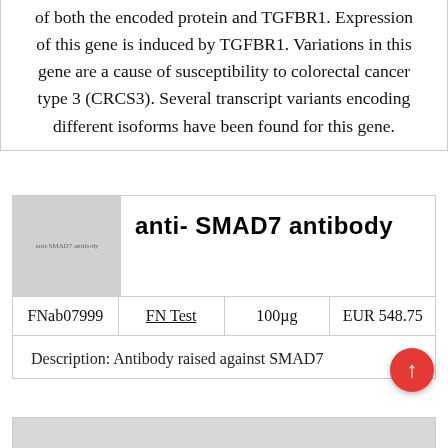of both the encoded protein and TGFBR1. Expression of this gene is induced by TGFBR1. Variations in this gene are a cause of susceptibility to colorectal cancer type 3 (CRCS3). Several transcript variants encoding different isoforms have been found for this gene.
[Figure (illustration): Placeholder image for anti-SMAD7 antibody product with gray background and small label text reading 'anti-SMAD7 antibody']
| FNab07999 | FN Test | 100µg | EUR 548.75 |
| --- | --- | --- | --- |
Description: Antibody raised against SMAD7